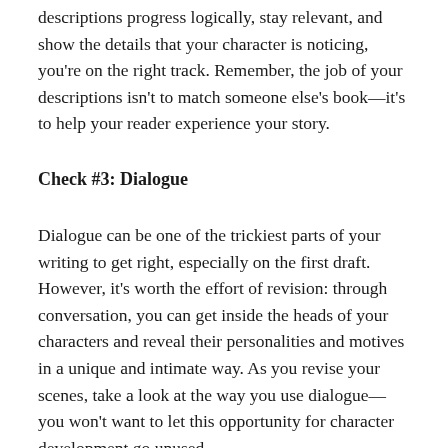descriptions progress logically, stay relevant, and show the details that your character is noticing, you're on the right track. Remember, the job of your descriptions isn't to match someone else's book—it's to help your reader experience your story.
Check #3: Dialogue
Dialogue can be one of the trickiest parts of your writing to get right, especially on the first draft. However, it's worth the effort of revision: through conversation, you can get inside the heads of your characters and reveal their personalities and motives in a unique and intimate way. As you revise your scenes, take a look at the way you use dialogue—you won't want to let this opportunity for character development go unused.
Is all of your dialogue in character? The first time you write a scene, it's easy to write the conversation that you